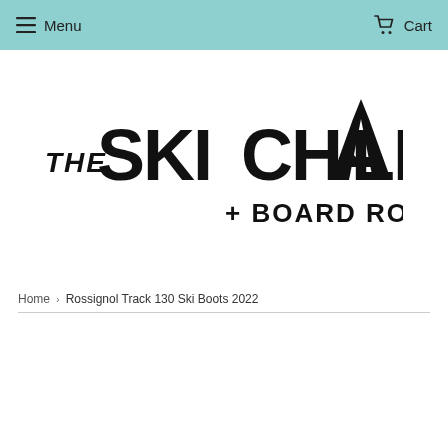Menu   Cart
[Figure (logo): The Ski Chalet + Board Room logo in black text with a mountain/ski peak graphic integrated into the letter A]
Home › Rossignol Track 130 Ski Boots 2022